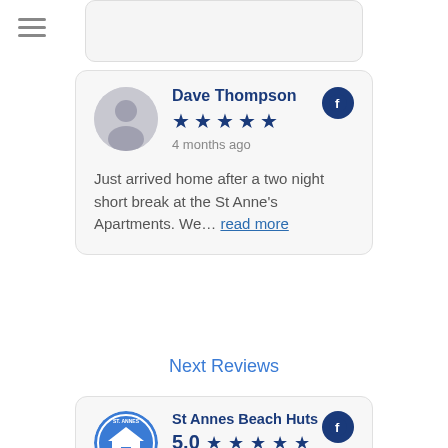[Figure (other): Hamburger menu icon (three horizontal lines)]
Dave Thompson
5 stars
4 months ago
Just arrived home after a two night short break at the St Anne's Apartments. We... read more
Next Reviews
St Annes Beach Huts
5.0 (5 stars)
Based on 100 reviews